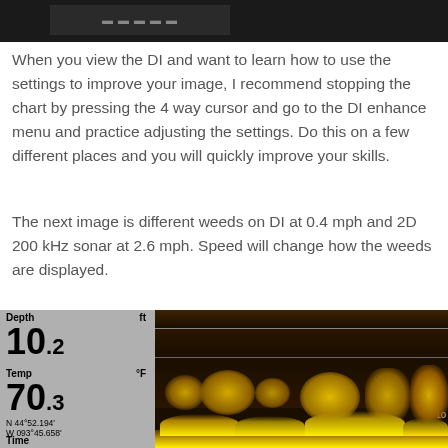[Figure (screenshot): Dark sonar/fish finder screenshot at the top of the page showing a dark image with a logo/label visible]
When you view the DI and want to learn how to use the settings to improve your image, I recommend stopping the chart by pressing the 4 way cursor and go to the DI enhance menu and practice adjusting the settings. Do this on a few different places and you will quickly improve your skills.
The next image is different weeds on DI at 0.4 mph and 2D 200 kHz sonar at 2.6 mph. Speed will change how the weeds are displayed.
[Figure (screenshot): Fish finder / sonar display screenshot showing depth 10.2 ft, temp 70.3°F, GPS coordinates N 44°52.194' W 093°45.658', with DI sonar image showing weed beds at depth markers 0, 5, and 10 ft. Depth display on left panel, sonar image on right showing brown/yellow coloring indicating weeds near bottom.]